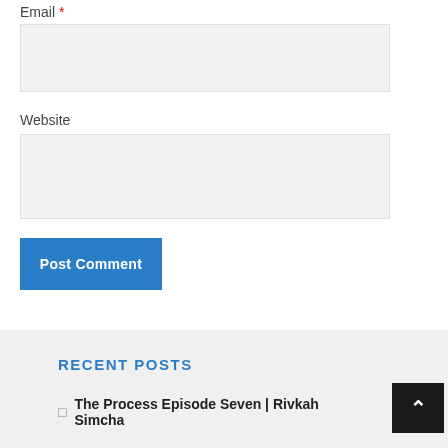Email *
[Figure (other): Email input field (empty text box with light gray background)]
Website
[Figure (other): Website input field (empty text box with light gray background)]
Post Comment
RECENT POSTS
The Process Episode Seven | Rivkah Simcha